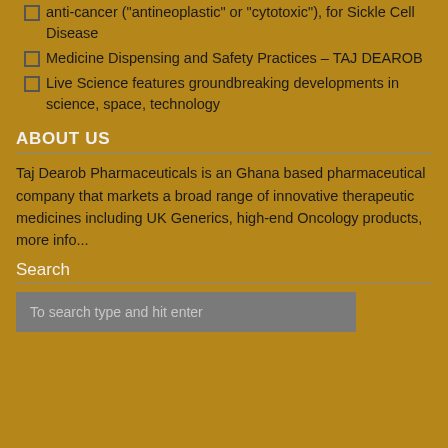anti-cancer ("antineoplastic" or "cytotoxic"), for Sickle Cell Disease
Medicine Dispensing and Safety Practices – TAJ DEAROB
Live Science features groundbreaking developments in science, space, technology
ABOUT US
Taj Dearob Pharmaceuticals is an Ghana based pharmaceutical company that markets a broad range of innovative therapeutic medicines including UK Generics, high-end Oncology products, more info...
Search
To search type and hit enter